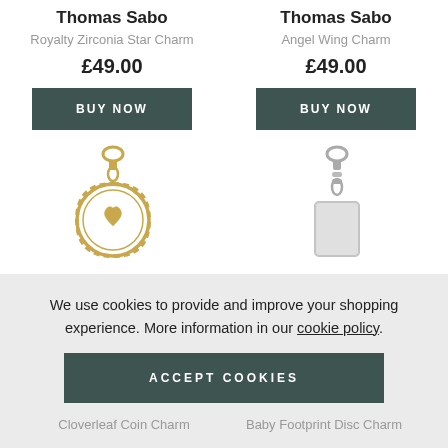Thomas Sabo
Royalty Zirconia Star Charm
£49.00
BUY NOW
Thomas Sabo
Angel Wing Charm
£49.00
BUY NOW
[Figure (photo): Gold cloverleaf coin charm on clasp]
[Figure (photo): Silver charm pendant on clasp]
We use cookies to provide and improve your shopping experience. More information in our cookie policy.
ACCEPT COOKIES
Cloverleaf Coin Charm
Baby Footprint Disc Charm